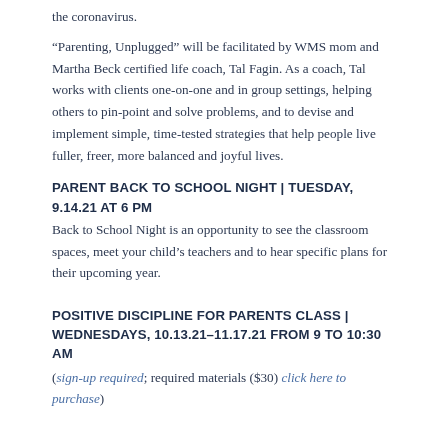the coronavirus.
“Parenting, Unplugged” will be facilitated by WMS mom and Martha Beck certified life coach, Tal Fagin. As a coach, Tal works with clients one-on-one and in group settings, helping others to pin-point and solve problems, and to devise and implement simple, time-tested strategies that help people live fuller, freer, more balanced and joyful lives.
PARENT BACK TO SCHOOL NIGHT | TUESDAY, 9.14.21 AT 6 PM
Back to School Night is an opportunity to see the classroom spaces, meet your child’s teachers and to hear specific plans for their upcoming year.
POSITIVE DISCIPLINE FOR PARENTS CLASS | WEDNESDAYS, 10.13.21–11.17.21 FROM 9 TO 10:30 AM
(sign-up required; required materials ($30) click here to purchase)